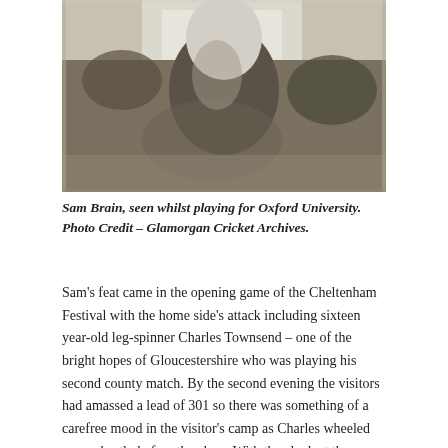[Figure (photo): Black and white photograph of Sam Brain, a cricket player, shown from the torso up with grass/natural background, seen whilst playing for Oxford University.]
Sam Brain, seen whilst playing for Oxford University. Photo Credit – Glamorgan Cricket Archives.
Sam's feat came in the opening game of the Cheltenham Festival with the home side's attack including sixteen year-old leg-spinner Charles Townsend – one of the bright hopes of Gloucestershire who was playing his second county match. By the second evening the visitors had amassed a lead of 301 so there was something of a carefree mood in the visitor's camp as Charles wheeled away shortly before the close. With the clock at the College ground nearing ten to seven, Charles began what proved to be his final over of the day, but not quite in the manner the young leg-spinner intended. To his fourth delivery of the over, Arthur Newton advanced down the wicket, missed the